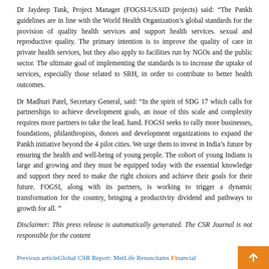Dr Jaydeep Tank, Project Manager (FOGSI-USAID projects) said: “The Pankh guidelines are in line with the World Health Organization’s global standards for the provision of quality health services and support health services. sexual and reproductive quality. The primary intention is to improve the quality of care in private health services, but they also apply to facilities run by NGOs and the public sector. The ultimate goal of implementing the standards is to increase the uptake of services, especially those related to SRH, in order to contribute to better health outcomes.
Dr Madhuri Patel, Secretary General, said: “In the spirit of SDG 17 which calls for partnerships to achieve development goals, an issue of this scale and complexity requires more partners to take the lead. hand. FOGSI seeks to rally more businesses, foundations, philanthropists, donors and development organizations to expand the Pankh initiative beyond the 4 pilot cities. We urge them to invest in India’s future by ensuring the health and well-being of young people. The cohort of young Indians is large and growing and they must be equipped today with the essential knowledge and support they need to make the right choices and achieve their goals for their future. FOGSI, along with its partners, is working to trigger a dynamic transformation for the country, bringing a productivity dividend and pathways to growth for all. ”
Disclaimer: This press release is automatically generated. The CSR Journal is not responsible for the content
Previous articleGlobal CSR Report: MetLife Resuscitates Financial...